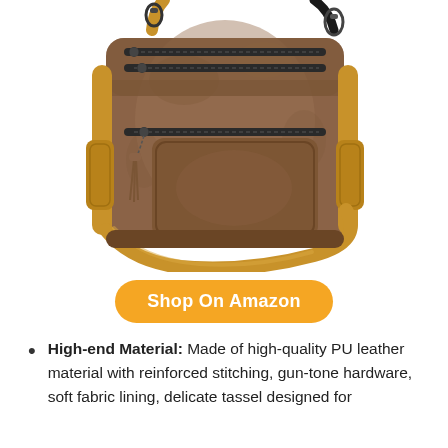[Figure (photo): Brown PU leather backpack/crossbody bag with multiple zippered compartments, gun-tone hardware, tassel detail, and tan shoulder strap, shown from the front against a white background.]
Shop On Amazon
High-end Material: Made of high-quality PU leather material with reinforced stitching, gun-tone hardware, soft fabric lining, delicate tassel designed for